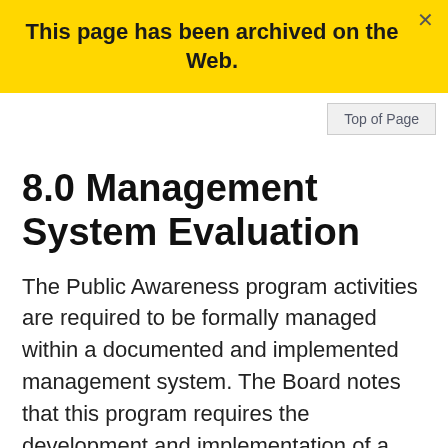This page has been archived on the Web.
8.0 Management System Evaluation
The Public Awareness program activities are required to be formally managed within a documented and implemented management system. The Board notes that this program requires the development and implementation of a documented